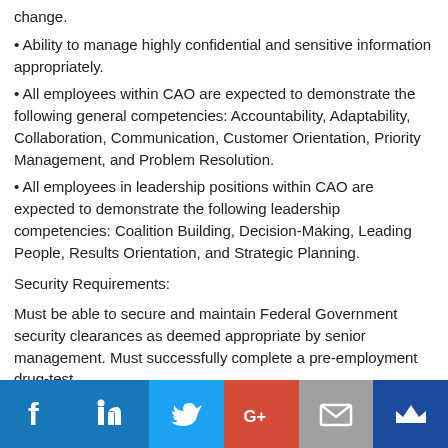change.
• Ability to manage highly confidential and sensitive information appropriately.
• All employees within CAO are expected to demonstrate the following general competencies: Accountability, Adaptability, Collaboration, Communication, Customer Orientation, Priority Management, and Problem Resolution.
• All employees in leadership positions within CAO are expected to demonstrate the following leadership competencies: Coalition Building, Decision-Making, Leading People, Results Orientation, and Strategic Planning.
Security Requirements:
Must be able to secure and maintain Federal Government security clearances as deemed appropriate by senior management. Must successfully complete a pre-employment drug-test.
[Figure (infographic): Social media sharing bar with icons: Facebook (blue), LinkedIn (blue), Twitter (blue), Google+ (red), Email (gray), and a crown/Muck Rack icon (dark blue).]